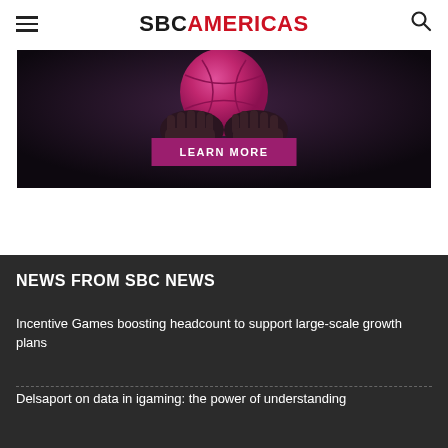SBC AMERICAS
[Figure (photo): Hands holding a pink/magenta basketball against a dark background, with a 'LEARN MORE' button overlay]
NEWS FROM SBC NEWS
Incentive Games boosting headcount to support large-scale growth plans
Delsaport on data in igaming: the power of understanding